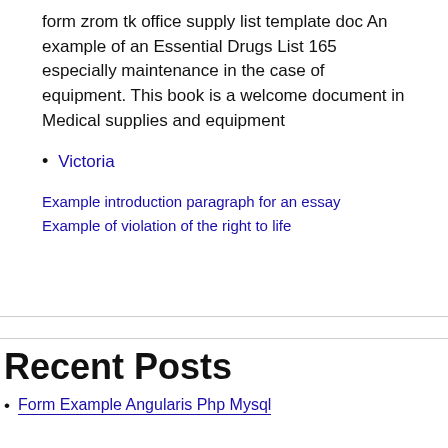form zrom tk office supply list template doc An example of an Essential Drugs List 165 especially maintenance in the case of equipment. This book is a welcome document in Medical supplies and equipment
Victoria
Example introduction paragraph for an essay
Example of violation of the right to life
Recent Posts
Form Example Angularis Php Mysql